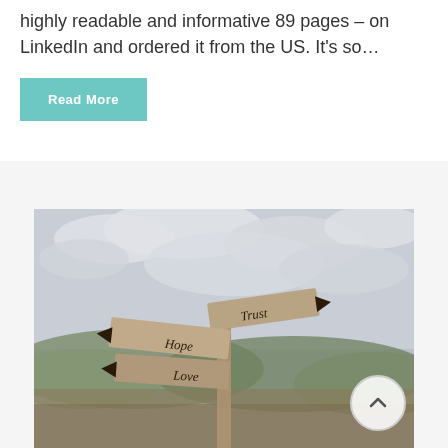highly readable and informative 89 pages – on LinkedIn and ordered it from the US. It's so...
Read More
[Figure (photo): Wooden signpost with multiple arms pointing in different directions, each labeled with words: Trust, Hope, Love. Set against a cloudy sky with rolling hills in the background.]